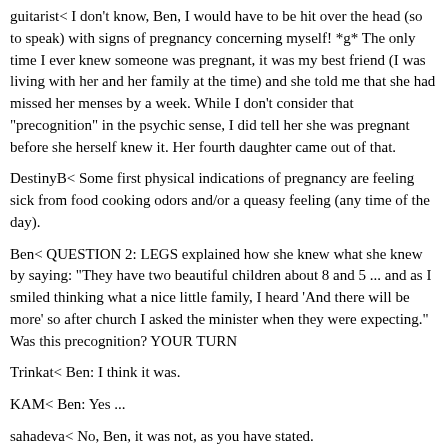guitarist< I don't know, Ben, I would have to be hit over the head (so to speak) with signs of pregnancy concerning myself! *g* The only time I ever knew someone was pregnant, it was my best friend (I was living with her and her family at the time) and she told me that she had missed her menses by a week. While I don't consider that "precognition" in the psychic sense, I did tell her she was pregnant before she herself knew it. Her fourth daughter came out of that.
DestinyB< Some first physical indications of pregnancy are feeling sick from food cooking odors and/or a queasy feeling (any time of the day).
Ben< QUESTION 2: LEGS explained how she knew what she knew by saying: "They have two beautiful children about 8 and 5 ... and as I smiled thinking what a nice little family, I heard 'And there will be more' so after church I asked the minister when they were expecting." Was this precognition? YOUR TURN
Trinkat< Ben: I think it was.
KAM< Ben: Yes ...
sahadeva< No, Ben, it was not, as you have stated.
guitarist< Yes, Ben, I think this would fall under precognition.